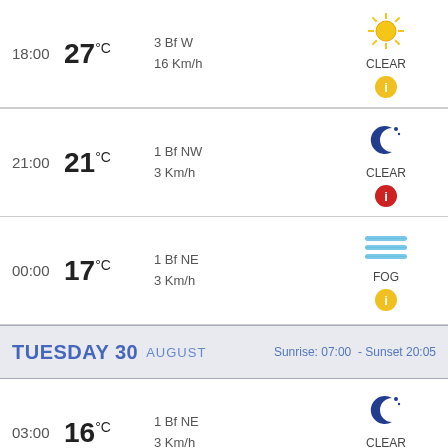| Time | Temp | Wind | Condition |
| --- | --- | --- | --- |
| 18:00 | 27°C | 3 Bf W
16 Km/h | CLEAR |
| 21:00 | 21°C | 1 Bf NW
3 Km/h | CLEAR |
| 00:00 | 17°C | 1 Bf NE
3 Km/h | FOG |
| TUESDAY 30 AUGUST |  |  | Sunrise: 07:00 - Sunset 20:05 |
| 03:00 | 16°C | 1 Bf NE
3 Km/h | CLEAR |
| 06:00 | 15°C | 1 Bf NE
3 Km/h | CLEAR |